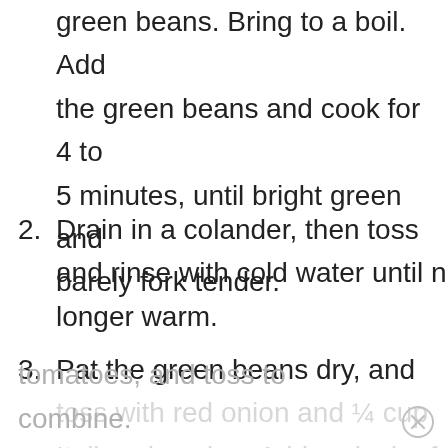(continuation) green beans. Bring to a boil. Add the green beans and cook for 4 to 5 minutes, until bright green and barely fork tender.
2. Drain in a colander, then toss and rinse with cold water until no longer warm.
3. Pat the green beans dry, and toss with red onion and ¼ cup Italian dressing. Add a pinch of salt and pepper, cannellini beans, and
tomatoes, and toss to combine.